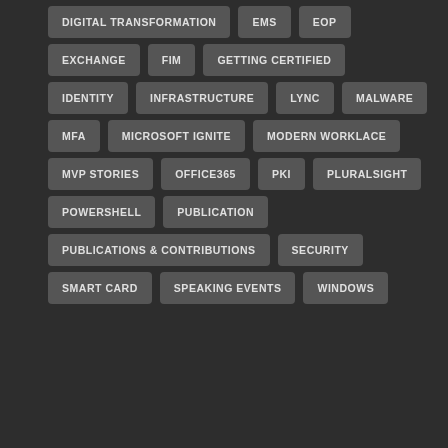DIGITAL TRANSFORMATION
EMS
EOP
EXCHANGE
FIM
GETTING CERTIFIED
IDENTITY
INFRASTRUCTURE
LYNC
MALWARE
MFA
MICROSOFT IGNITE
MODERN WORKLACE
MVP STORIES
OFFICE365
PKI
PLURALSIGHT
POWERSHELL
PUBLICATION
PUBLICATIONS & CONTRIBUTIONS
SECURITY
SMART CARD
SPEAKING EVENTS
WINDOWS